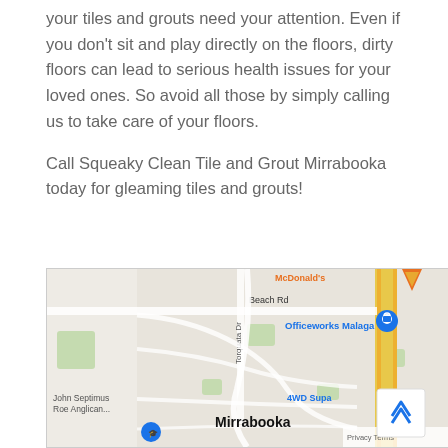your tiles and grouts need your attention. Even if you don't sit and play directly on the floors, dirty floors can lead to serious health issues for your loved ones. So avoid all those by simply calling us to take care of your floors.
Call Squeaky Clean Tile and Grout Mirrabooka today for gleaming tiles and grouts!
[Figure (map): Google Maps screenshot showing Mirrabooka area with labels for Beach Rd, Torquata Dr, Officeworks Malaga, John Septimus Roe Anglican..., 4WD Supa, McDonald's, and Mirrabooka. A blue location pin and an orange/yellow highway are visible.]